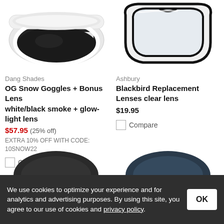[Figure (photo): Dang Shades OG Snow Goggles with white frame and dark smoke lens, DANG logo visible on strap]
[Figure (photo): Ashbury Blackbird Replacement Lenses - clear lens, transparent with black frame outline]
Dang Shades
OG Snow Goggles + Bonus Lens
white/black smoke + glow-light lens
$57.95 (25% off)
EXTRA 10% OFF WITH CODE: 10SNOW22
Compare
Ashbury
Blackbird Replacement Lenses
clear lens
$19.95
Compare
[Figure (photo): Partial view of a dark helmet, bottom of page]
[Figure (photo): Partial view of a dark blue helmet, bottom of page]
We use cookies to optimize your experience and for analytics and advertising purposes. By using this site, you agree to our use of cookies and privacy policy.